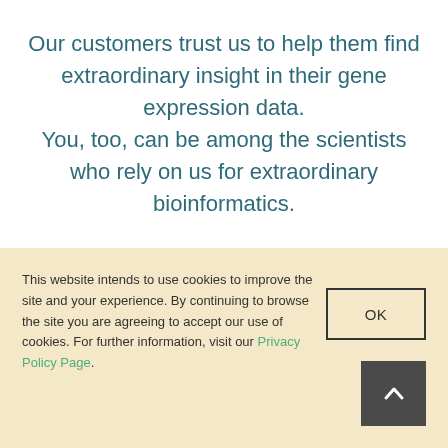Our customers trust us to help them find extraordinary insight in their gene expression data. You, too, can be among the scientists who rely on us for extraordinary bioinformatics.
This website intends to use cookies to improve the site and your experience. By continuing to browse the site you are agreeing to accept our use of cookies. For further information, visit our Privacy Policy Page.